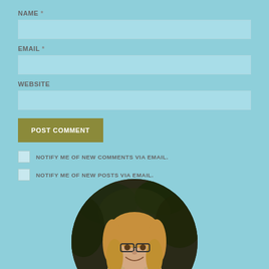NAME *
[Figure (other): Empty text input field for Name]
EMAIL *
[Figure (other): Empty text input field for Email]
WEBSITE
[Figure (other): Empty text input field for Website]
POST COMMENT
NOTIFY ME OF NEW COMMENTS VIA EMAIL.
NOTIFY ME OF NEW POSTS VIA EMAIL.
[Figure (photo): Circular cropped photo of a smiling woman with long wavy blonde hair and glasses, wearing glasses, outdoors with dark foliage background]